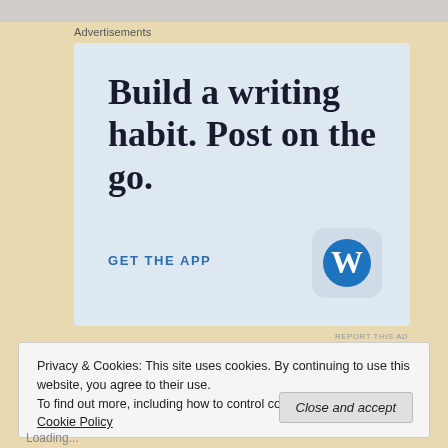Advertisements
[Figure (illustration): WordPress advertisement banner with light blue background. Large serif bold text reading 'Build a writing habit. Post on the go.' with a blue 'GET THE APP' call-to-action link and WordPress 'W' logo icon in bottom right corner.]
REPORT THIS AD
Privacy & Cookies: This site uses cookies. By continuing to use this website, you agree to their use.
To find out more, including how to control cookies, see here: Cookie Policy
Close and accept
Loading...